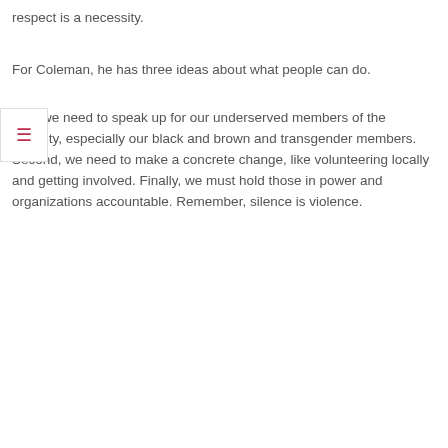respect is a necessity.
For Coleman, he has three ideas about what people can do.
First, we need to speak up for our underserved members of the community, especially our black and brown and transgender members. Second, we need to make a concrete change, like volunteering locally and getting involved. Finally, we must hold those in power and organizations accountable. Remember, silence is violence.